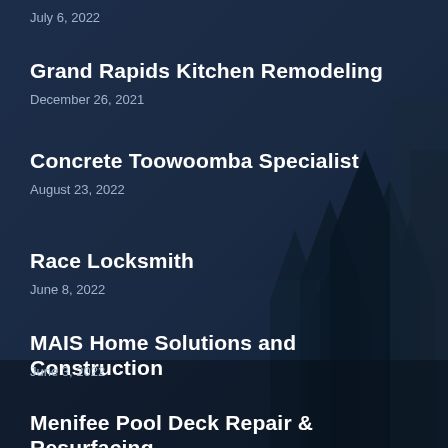July 6, 2022
Grand Rapids Kitchen Remodeling
December 26, 2021
Concrete Toowoomba Specialist
August 23, 2022
Race Locksmith
June 8, 2022
MAIS Home Solutions and Construction
June 3, 2022
Menifee Pool Deck Repair & Resurfacing